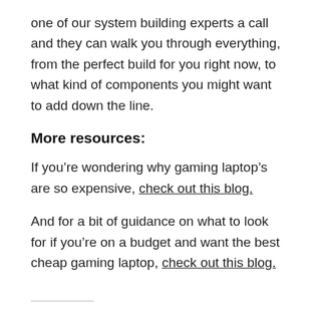one of our system building experts a call and they can walk you through everything, from the perfect build for you right now, to what kind of components you might want to add down the line.
More resources:
If you're wondering why gaming laptop's are so expensive, check out this blog.
And for a bit of guidance on what to look for if you're on a budget and want the best cheap gaming laptop, check out this blog.